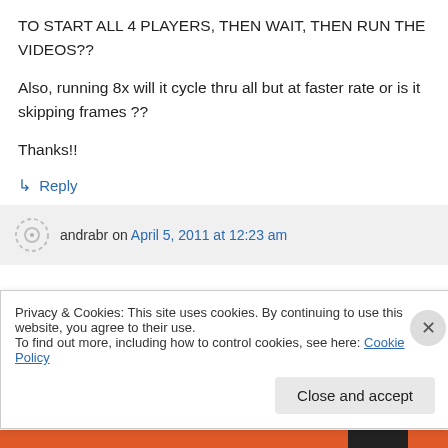TO START ALL 4 PLAYERS, THEN WAIT, THEN RUN THE VIDEOS??
Also, running 8x will it cycle thru all but at faster rate or is it skipping frames ??
Thanks!!
↳ Reply
andrabr on April 5, 2011 at 12:23 am
Privacy & Cookies: This site uses cookies. By continuing to use this website, you agree to their use.
To find out more, including how to control cookies, see here: Cookie Policy
Close and accept